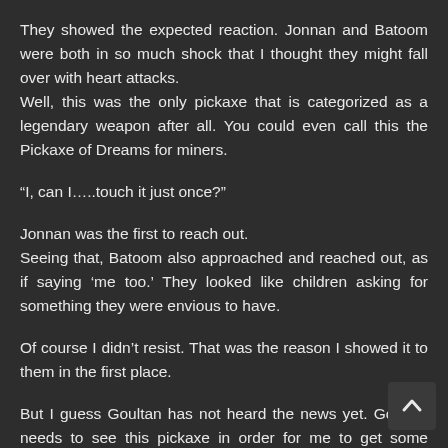They showed the expected reaction. Jonnan and Batoom were both in so much shock that I thought they might fall over with heart attacks. Well, this was the only pickaxe that is categorized as a legendary weapon after all. You could even call this the Pickaxe of Dreams for miners.
“I, can I…..touch it just once?”
Jonnan was the first to reach out. Seeing that, Batoom also approached and reached out, as if saying ‘me too.’ They looked like children asking for something they were envious to have.
Of course I didn’t resist. That was the reason I showed it to them in the first place.
But I guess Goultan has not heard the news yet. Goultan needs to see this pickaxe in order for me to get some benefit.